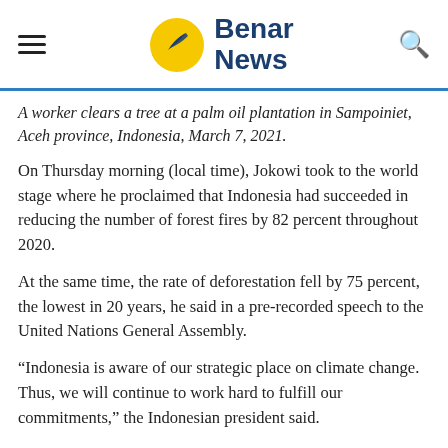Benar News
A worker clears a tree at a palm oil plantation in Sampoiniet, Aceh province, Indonesia, March 7, 2021.
On Thursday morning (local time), Jokowi took to the world stage where he proclaimed that Indonesia had succeeded in reducing the number of forest fires by 82 percent throughout 2020.
At the same time, the rate of deforestation fell by 75 percent, the lowest in 20 years, he said in a pre-recorded speech to the United Nations General Assembly.
“Indonesia is aware of our strategic place on climate change. Thus, we will continue to work hard to fulfill our commitments,” the Indonesian president said.